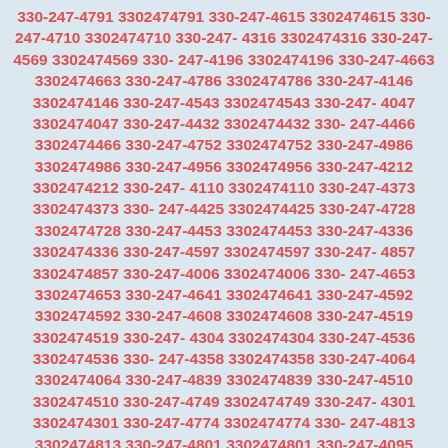330-247-4791 3302474791 330-247-4615 3302474615 330-247-4710 3302474710 330-247-4316 3302474316 330-247-4569 3302474569 330-247-4196 3302474196 330-247-4663 3302474663 330-247-4786 3302474786 330-247-4146 3302474146 330-247-4543 3302474543 330-247-4047 3302474047 330-247-4432 3302474432 330-247-4466 3302474466 330-247-4752 3302474752 330-247-4986 3302474986 330-247-4956 3302474956 330-247-4212 3302474212 330-247-4110 3302474110 330-247-4373 3302474373 330-247-4425 3302474425 330-247-4728 3302474728 330-247-4453 3302474453 330-247-4336 3302474336 330-247-4597 3302474597 330-247-4857 3302474857 330-247-4006 3302474006 330-247-4653 3302474653 330-247-4641 3302474641 330-247-4592 3302474592 330-247-4608 3302474608 330-247-4519 3302474519 330-247-4304 3302474304 330-247-4536 3302474536 330-247-4358 3302474358 330-247-4064 3302474064 330-247-4839 3302474839 330-247-4510 3302474510 330-247-4749 3302474749 330-247-4301 3302474301 330-247-4774 3302474774 330-247-4813 3302474813 330-247-4801 3302474801 330-247-4095 3302474095 330-247-4714